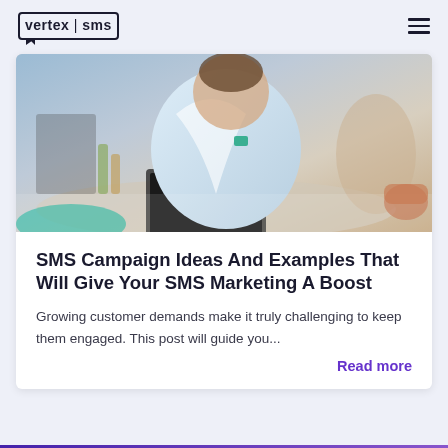vertex sms
[Figure (photo): A man in a light blue shirt sitting at a counter or table in a cafe/restaurant setting, working on a laptop. The background shows a blurred indoor setting.]
SMS Campaign Ideas And Examples That Will Give Your SMS Marketing A Boost
Growing customer demands make it truly challenging to keep them engaged. This post will guide you...
Read more